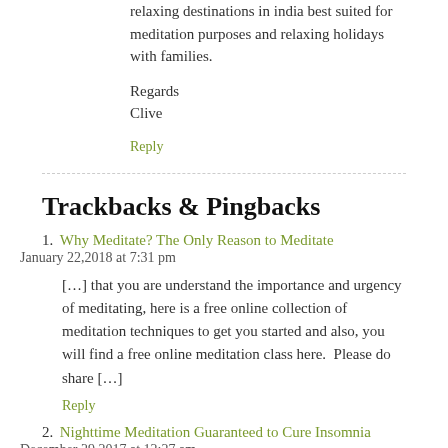relaxing destinations in india best suited for meditation purposes and relaxing holidays with families.
Regards
Clive
Reply
Trackbacks & Pingbacks
1. Why Meditate? The Only Reason to Meditate
January 22,2018 at 7:31 pm
[…] that you are understand the importance and urgency of meditating, here is a free online collection of meditation techniques to get you started and also, you will find a free online meditation class here.  Please do share […]
Reply
2. Nighttime Meditation Guaranteed to Cure Insomnia
December 29,2017 at 12:27 am